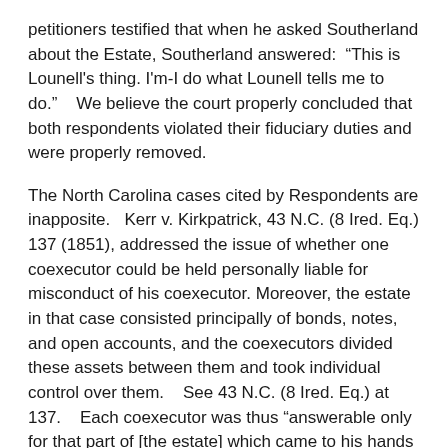petitioners testified that when he asked Southerland about the Estate, Southerland answered: “This is Lounell's thing. I'm-I do what Lounell tells me to do.”   We believe the court properly concluded that both respondents violated their fiduciary duties and were properly removed.
The North Carolina cases cited by Respondents are inapposite.   Kerr v. Kirkpatrick, 43 N.C. (8 Ired. Eq.) 137 (1851), addressed the issue of whether one coexecutor could be held personally liable for misconduct of his coexecutor.   Moreover, the estate in that case consisted principally of bonds, notes, and open accounts, and the coexecutors divided these assets between them and took individual control over them.   See 43 N.C. (8 Ired. Eq.) at 137.   Each coexecutor was thus “answerable only for that part of [the estate] which came to his hands or was under his control.”   Id. at 140.   Respondents concede that the issue of whether one coexecutor is responsible for the misconduct of another